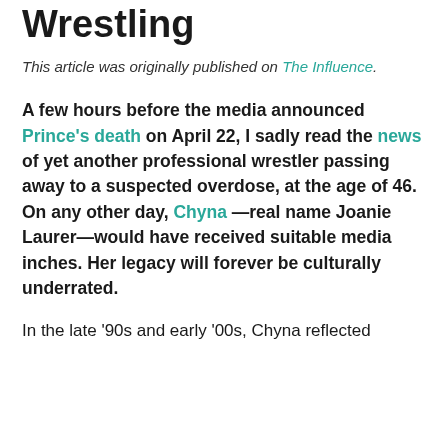Wrestling
This article was originally published on The Influence.
A few hours before the media announced Prince's death on April 22, I sadly read the news of yet another professional wrestler passing away to a suspected overdose, at the age of 46. On any other day, Chyna —real name Joanie Laurer—would have received suitable media inches. Her legacy will forever be culturally underrated.
In the late '90s and early '00s, Chyna reflected